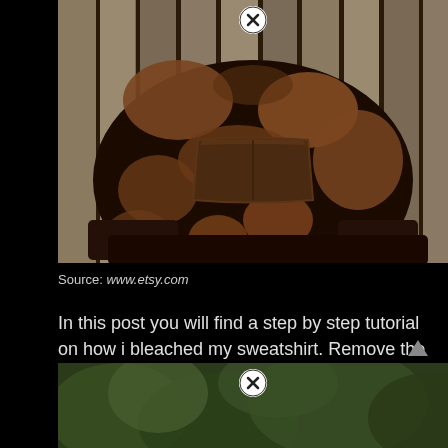[Figure (photo): Bleached/tie-dye black sweatshirt with brown/rust spots hanging against a wooden fence background. A white circle with X close button is visible at the top center.]
Source: www.etsy.com
In this post you will find a step by step tutorial on how i bleached my sweatshirt. Remove the rubber bands and rinse the sweatshirt thoroughly.
[Figure (photo): Partial view of another photo below, showing green foliage background. A white circle with X close button is visible at the top center.]